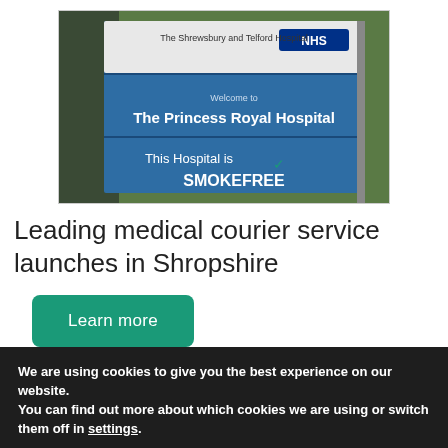[Figure (photo): Photograph of The Princess Royal Hospital sign reading 'The Shrewsbury and Telford Hospital NHS. Welcome to The Princess Royal Hospital. This Hospital is SMOKEFREE.']
Leading medical courier service launches in Shropshire
Learn more
We are using cookies to give you the best experience on our website.
You can find out more about which cookies we are using or switch them off in settings.
Accept | Reject | Settings